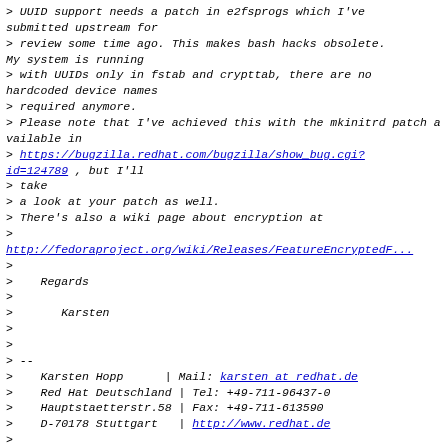> UUID support needs a patch in e2fsprogs which I've submitted upstream for
> review some time ago. This makes bash hacks obsolete. My system is running
> with UUIDs only in fstab and crypttab, there are no hardcoded device names
> required anymore.
> Please note that I've achieved this with the mkinitrd patch available in
> https://bugzilla.redhat.com/bugzilla/show_bug.cgi?id=124789 , but I'll
> take
> a look at your patch as well.
> There's also a wiki page about encryption at
>
http://fedoraproject.org/wiki/Releases/FeatureEncryptedF...
>
>    Regards
>
>       Karsten
>
>
> --
>    Karsten Hopp      | Mail: karsten at redhat.de
>    Red Hat Deutschland | Tel: +49-711-96437-0
>    Hauptstaetterstr.58 | Fax: +49-711-613590
>    D-70178 Stuttgart  | http://www.redhat.de
>
> --
> fedora-devel-list mailing list